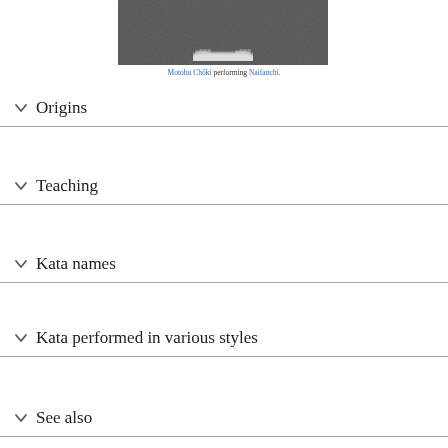[Figure (photo): Black and white photograph of Motobu Chōki performing Naifanchi, showing feet at bottom of cropped image]
Motobu Chōki performing Naifanchi.
Origins
Teaching
Kata names
Kata performed in various styles
See also